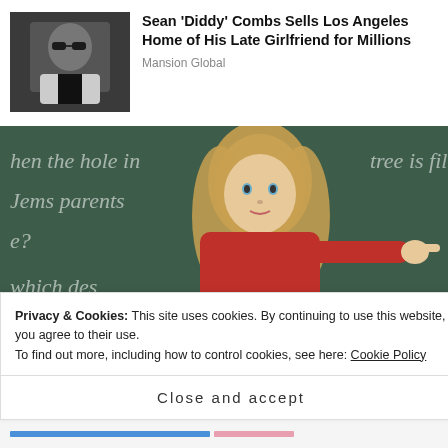[Figure (photo): News card thumbnail: man with sunglasses]
Sean 'Diddy' Combs Sells Los Angeles Home of His Late Girlfriend for Millions
Mansion Global
[Figure (photo): Woman in red top pointing at chalkboard with writing: 'hen the hole in ... tree is fille... Jems parents ... e? which des... P...']
Privacy & Cookies: This site uses cookies. By continuing to use this website, you agree to their use.
To find out more, including how to control cookies, see here: Cookie Policy
Close and accept